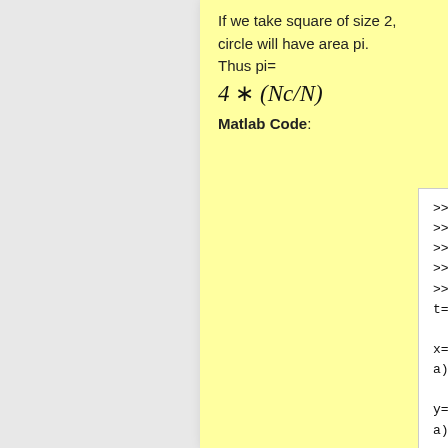If we take square of size 2, circle will have area pi.
Thus pi=
Matlab Code:
>>N=10000;
>>Nc=0;
>>a=0;
>>b=2;
>>for t=1:N

x=a+(b-a)*rand();

y=a+(b-a)*rand();
        if
(x-1)^2+...